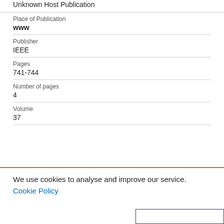Unknown Host Publication
Place of Publication
www
Publisher
IEEE
Pages
741-744
Number of pages
4
Volume
37
We use cookies to analyse and improve our service. Cookie Policy